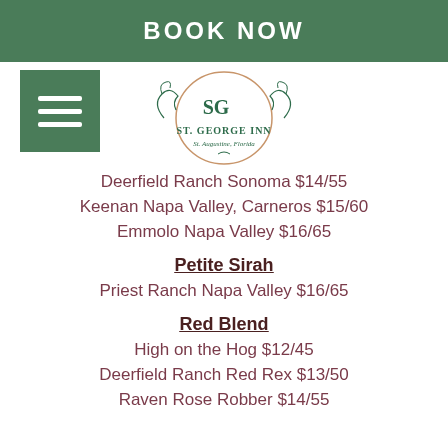BOOK NOW
[Figure (logo): St. George Inn logo with decorative arch and scrollwork, St. Augustine, Florida]
Deerfield Ranch Sonoma $14/55
Keenan Napa Valley, Carneros $15/60
Emmolo Napa Valley $16/65
Petite Sirah
Priest Ranch Napa Valley $16/65
Red Blend
High on the Hog $12/45
Deerfield Ranch Red Rex $13/50
Raven Rose Robber $14/55